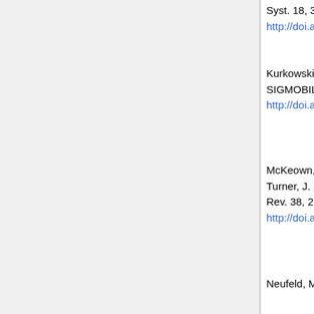Syst. 18, 3 (Aug. 2000), 263-297. DOI= http://doi.acm.org/10.1145/354871.354874
Kurkowski, S., Camp, T., and Colagrosso, M. 2005. MANET simulation studies: the incredibles. SIGMOBILE Mob. Comput. Commun. Rev. 9, 4 (Oct. 2005), 50-61. DOI= http://doi.acm.org/10.1145/1096166.109617
McKeown, N., Anderson, T., Balakrishnan, H., Parulkar, G., Peterson, L., Rexford, J., Shenker, S., and Turner, J. 2008. OpenFlow: enabling innovation in campus networks. SIGCOMM Comput. Commun. Rev. 38, 2 (Mar. 2008), 69-74. DOI= http://doi.acm.org/10.1145/1355734.135574
Neufeld, M., Jain, A., and Grunwald, D. 2002. Nsclick:: bridging network simulation and deployment. In proceedings of the international...